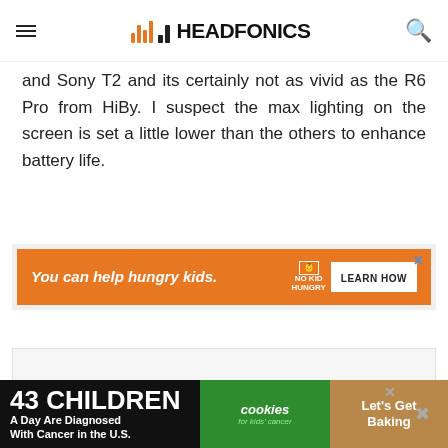HEADFONICS
and Sony T2 and its certainly not as vivid as the R6 Pro from HiBy. I suspect the max lighting on the screen is set a little lower than the others to enhance battery life.
[Figure (infographic): Orange advertisement banner: 'You can help hungry kids.' with No Kid Hungry logo and LEARN HOW button]
[Figure (infographic): Black bottom banner advertisement: '43 CHILDREN A Day Are Diagnosed With Cancer in the U.S.' with cookies for kids cancer logo and 'Let's Get Baking' text]